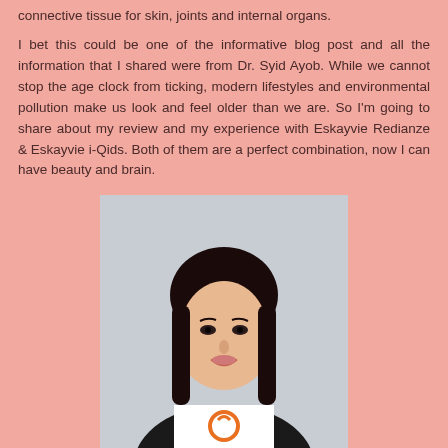connective tissue for skin, joints and internal organs.
I bet this could be one of the informative blog post and all the information that I shared were from Dr. Syid Ayob. While we cannot stop the age clock from ticking, modern lifestyles and environmental pollution make us look and feel older than we are. So I'm going to share about my review and my experience with Eskayvie Redianze & Eskayvie i-Qids. Both of them are a perfect combination, now I can have beauty and brain.
[Figure (photo): A woman with long dark hair smiling, holding a white box with an orange circular logo]